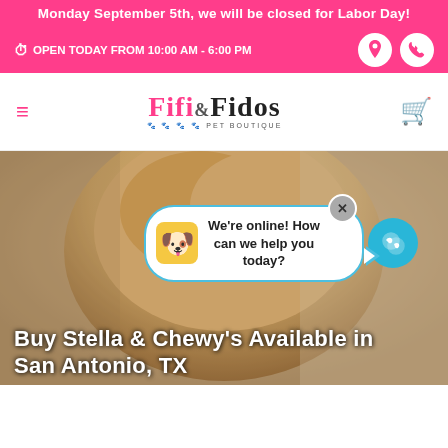Monday September 5th, we will be closed for Labor Day!
OPEN TODAY FROM 10:00 AM - 6:00 PM
[Figure (logo): Fifi & Fidos Pet Boutique logo with paw prints]
[Figure (photo): Close-up photo of a golden/light-colored dog]
We're online! How can we help you today?
Buy Stella & Chewy's Available in San Antonio, TX